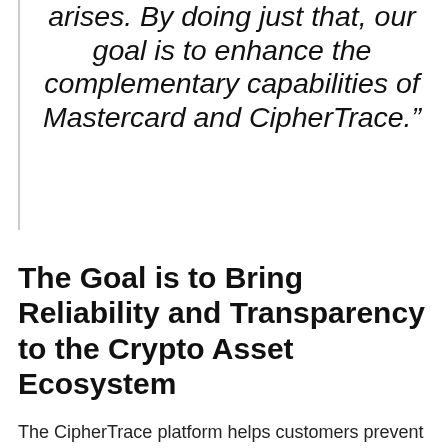arises. By doing just that, our goal is to enhance the complementary capabilities of Mastercard and CipherTrace.”
The Goal is to Bring Reliability and Transparency to the Crypto Asset Ecosystem
The CipherTrace platform helps customers prevent fraud by increasing security regarding crypto-assets. They provide